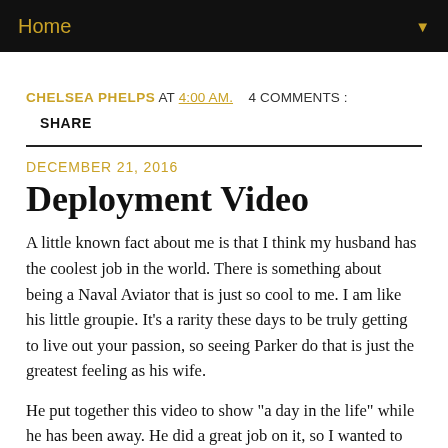Home ▼
CHELSEA PHELPS AT 4:00 AM.   4 COMMENTS :
SHARE
DECEMBER 21, 2016
Deployment Video
A little known fact about me is that I think my husband has the coolest job in the world. There is something about being a Naval Aviator that is just so cool to me. I am like his little groupie. It's a rarity these days to be truly getting to live out your passion, so seeing Parker do that is just the greatest feeling as his wife.
He put together this video to show "a day in the life" while he has been away. He did a great job on it, so I wanted to share it. I think...